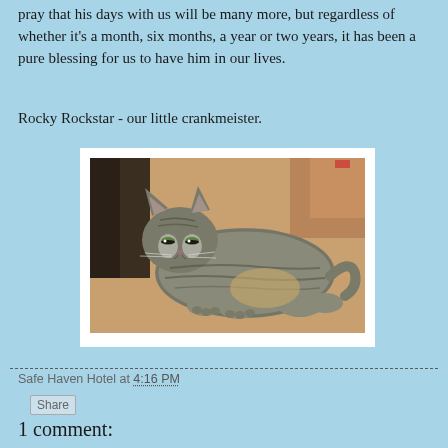pray that his days with us will be many more, but regardless of whether it's a month, six months, a year or two years, it has been a pure blessing for us to have him in our lives.
Rocky Rockstar - our little crankmeister.
[Figure (photo): A tabby cat with grey and black striped fur resting on a brown surface, likely a couch or cushion, in a cozy indoor setting.]
Safe Haven Hotel at 4:16 PM
Share
1 comment: